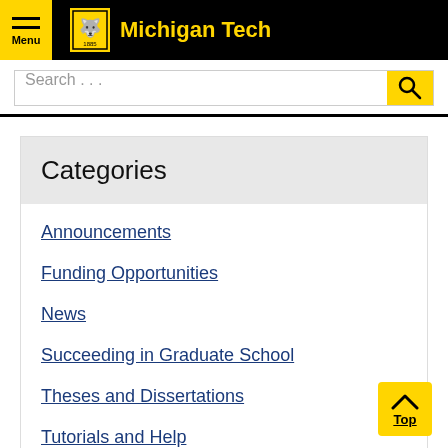[Figure (logo): Michigan Tech university header with black background, yellow Menu button on left, wolf logo in yellow box, and Michigan Tech text in yellow]
Search ...
Categories
Announcements
Funding Opportunities
News
Succeeding in Graduate School
Theses and Dissertations
Tutorials and Help